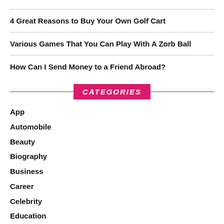4 Great Reasons to Buy Your Own Golf Cart
Various Games That You Can Play With A Zorb Ball
How Can I Send Money to a Friend Abroad?
CATEGORIES
App
Automobile
Beauty
Biography
Business
Career
Celebrity
Education
Entertainment